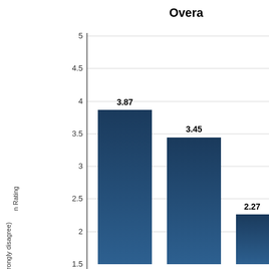[Figure (bar-chart): Overall...]